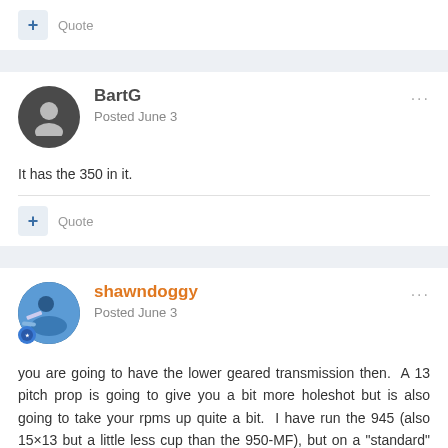+ Quote
BartG
Posted June 3
It has the 350 in it.
+ Quote
shawndoggy
Posted June 3
you are going to have the lower geared transmission then.  A 13 pitch prop is going to give you a bit more holeshot but is also going to take your rpms up quite a bit.  I have run the 945 (also 15×13 but a little less cup than the 950-MF), but on a "standard" 1.5:1 transmission boat (2014 23 lsv), not a geared down